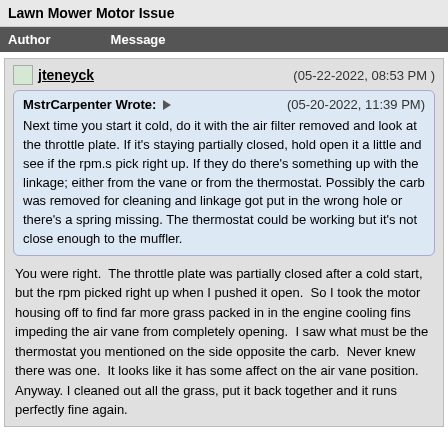Lawn Mower Motor Issue
Author   Message
jteneyck   (05-22-2022, 08:53 PM )
MstrCarpenter Wrote:  (05-20-2022, 11:39 PM)
Next time you start it cold, do it with the air filter removed and look at the throttle plate. If it's staying partially closed, hold open it a little and see if the rpm.s pick right up. If they do there's something up with the linkage; either from the vane or from the thermostat. Possibly the carb was removed for cleaning and linkage got put in the wrong hole or there's a spring missing. The thermostat could be working but it's not close enough to the muffler.
You were right.  The throttle plate was partially closed after a cold start, but the rpm picked right up when I pushed it open.  So I took the motor housing off to find far more grass packed in in the engine cooling fins impeding the air vane from completely opening.  I saw what must be the thermostat you mentioned on the side opposite the carb.  Never knew there was one.  It looks like it has some affect on the air vane position.  Anyway. I cleaned out all the grass, put it back together and it runs perfectly fine again.